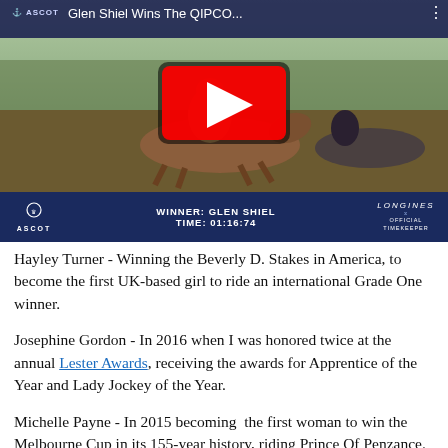[Figure (screenshot): YouTube video thumbnail showing Glen Shiel winning the QIPCO race at Ascot, with jockey on horseback. Video title 'Glen Shiel Wins The QIPCO...' visible at top. A YouTube play button overlay is centered on the image. Below the thumbnail is a dark navy banner showing ASCOT logo, WINNER: GLEN SHIEL, TIME: 01:16:74, and LONGINES OFFICIAL TIMEKEEPER.]
Hayley Turner - Winning the Beverly D. Stakes in America, to become the first UK-based girl to ride an international Grade One winner.
Josephine Gordon - In 2016 when I was honored twice at the annual Lester Awards, receiving the awards for Apprentice of the Year and Lady Jockey of the Year.
Michelle Payne - In 2015 becoming  the first woman to win the Melbourne Cup in its 155-year history, riding Prince Of Penzance.